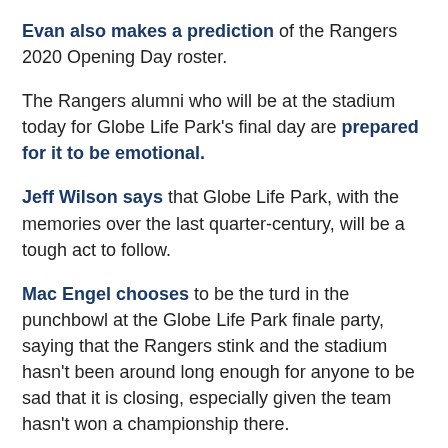Evan also makes a prediction of the Rangers 2020 Opening Day roster.
The Rangers alumni who will be at the stadium today for Globe Life Park's final day are prepared for it to be emotional.
Jeff Wilson says that Globe Life Park, with the memories over the last quarter-century, will be a tough act to follow.
Mac Engel chooses to be the turd in the punchbowl at the Globe Life Park finale party, saying that the Rangers stink and the stadium hasn't been around long enough for anyone to be sad that it is closing, especially given the team hasn't won a championship there.